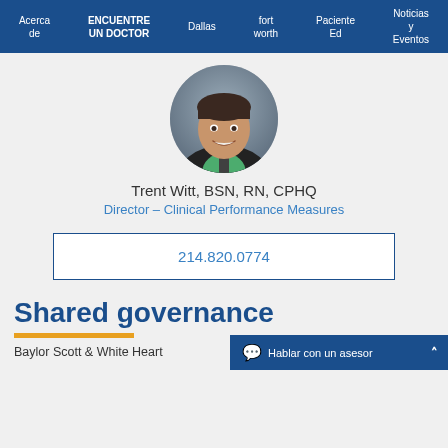Acerca de | ENCUENTRE UN DOCTOR | Dallas | fort worth | Paciente Ed | Noticias y Eventos
[Figure (photo): Circular headshot of Trent Witt, a man in a black suit jacket with a green shirt and dark tie, smiling.]
Trent Witt, BSN, RN, CPHQ
Director – Clinical Performance Measures
214.820.0774
Shared governance
Baylor Scott & White Heart
Hablar con un asesor